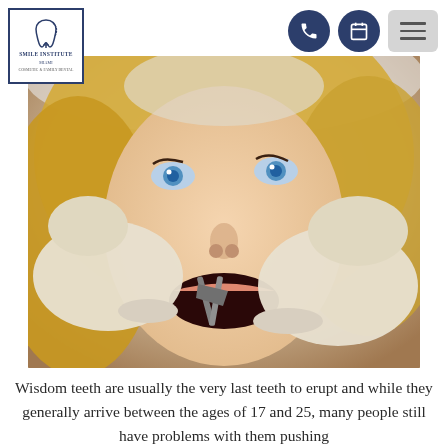[Figure (logo): Smile Institute logo with tooth icon inside a square border, with text SMILE INSTITUTE and subtitle below]
[Figure (photo): Close-up photo of a young blonde woman with blue eyes having a tooth extracted by a dentist wearing white latex gloves using dental forceps]
Wisdom teeth are usually the very last teeth to erupt and while they generally arrive between the ages of 17 and 25, many people still have problems with them pushing